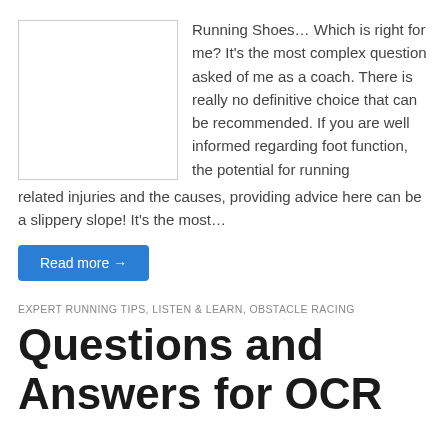[Figure (photo): Blank white image placeholder with light gray border]
Running Shoes… Which is right for me? It's the most complex question asked of me as a coach. There is really no definitive choice that can be recommended.  If you are well informed regarding foot function, the potential for running related injuries and the causes, providing advice here can be a slippery slope! It's the most…
Read more →
EXPERT RUNNING TIPS, LISTEN & LEARN, OBSTACLE RACING
Questions and Answers for OCR